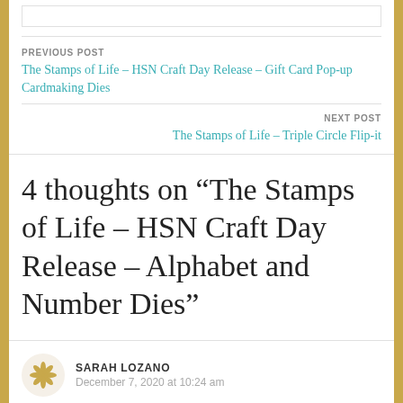PREVIOUS POST
The Stamps of Life – HSN Craft Day Release – Gift Card Pop-up Cardmaking Dies
NEXT POST
The Stamps of Life – Triple Circle Flip-it
4 thoughts on “The Stamps of Life – HSN Craft Day Release – Alphabet and Number Dies”
SARAH LOZANO
December 7, 2020 at 10:24 am